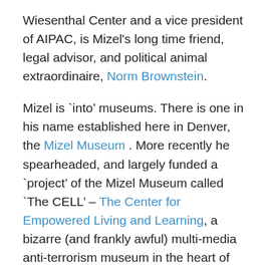Wiesenthal Center and a vice president of AIPAC, is Mizel's long time friend, legal advisor, and political animal extraordinaire, Norm Brownstein.

Mizel is 'into' museums. There is one in his name established here in Denver, the Mizel Museum . More recently he spearheaded, and largely funded a 'project' of the Mizel Museum called 'The CELL' – The Center for Empowered Living and Learning, a bizarre (and frankly awful) multi-media anti-terrorism museum in the heart of Denver. So the Museum for Tolerance in Jerusalem is right up his alley so to speak. In fact, it is impossible for Larry Mizel not to be in the middle of this project, both on the fundraising end of things as well as in lobbying for support for the Museum of Tolerance both in Israel and the United States. For example, on at least one occasion when the project ran into trouble, he called Prime Minister Ehud